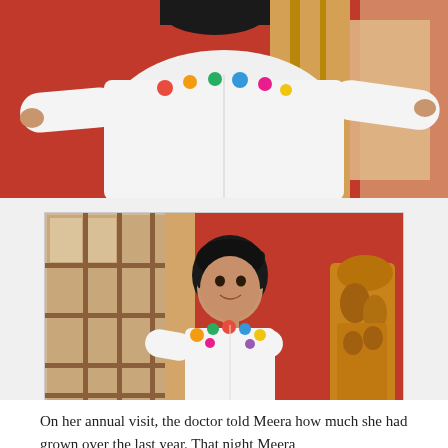[Figure (photo): Top portion of a child wearing a white long-sleeve shirt with colorful polka dot embellishments, arms outstretched, in a room with red walls and wooden window frames. Only torso and arms visible.]
[Figure (photo): Young girl named Meera wearing a white long-sleeve shirt with colorful polka dot embellishments, smiling, standing in front of a red wall with a wooden window on the left and a carved wooden statue on the right.]
On her annual visit, the doctor told Meera how much she had grown over the last year. That night Meera